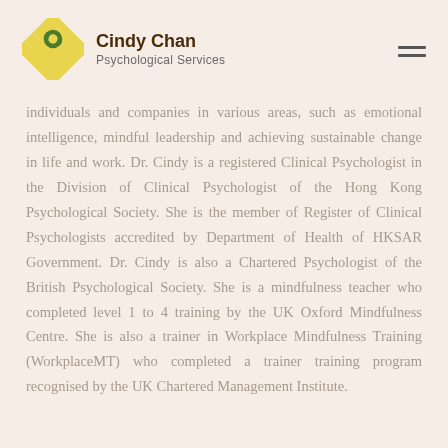Cindy Chan Psychological Services
individuals and companies in various areas, such as emotional intelligence, mindful leadership and achieving sustainable change in life and work. Dr. Cindy is a registered Clinical Psychologist in the Division of Clinical Psychologist of the Hong Kong Psychological Society. She is the member of Register of Clinical Psychologists accredited by Department of Health of HKSAR Government. Dr. Cindy is also a Chartered Psychologist of the British Psychological Society. She is a mindfulness teacher who completed level 1 to 4 training by the UK Oxford Mindfulness Centre. She is also a trainer in Workplace Mindfulness Training (WorkplaceMT) who completed a trainer training program recognised by the UK Chartered Management Institute.